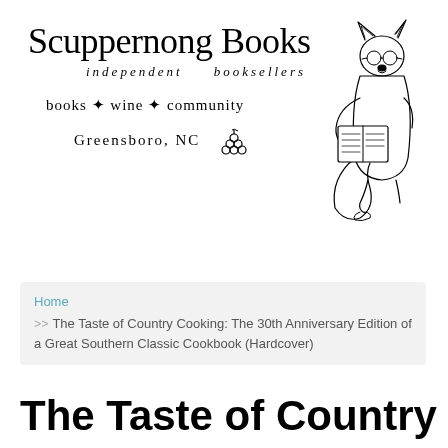[Figure (logo): Scuppernong Books logo with fox illustration reading a book, text 'Scuppernong Books independent booksellers', 'books ✦ wine ✦ community', 'Greensboro, NC' with decorative grape illustration]
Home >> The Taste of Country Cooking: The 30th Anniversary Edition of a Great Southern Classic Cookbook (Hardcover)
The Taste of Country